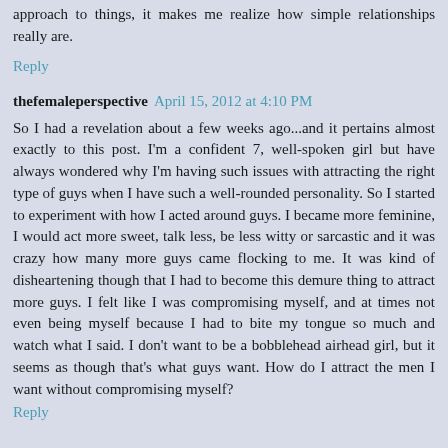approach to things, it makes me realize how simple relationships really are.
Reply
thefemaleperspective  April 15, 2012 at 4:10 PM
So I had a revelation about a few weeks ago...and it pertains almost exactly to this post. I'm a confident 7, well-spoken girl but have always wondered why I'm having such issues with attracting the right type of guys when I have such a well-rounded personality. So I started to experiment with how I acted around guys. I became more feminine, I would act more sweet, talk less, be less witty or sarcastic and it was crazy how many more guys came flocking to me. It was kind of disheartening though that I had to become this demure thing to attract more guys. I felt like I was compromising myself, and at times not even being myself because I had to bite my tongue so much and watch what I said. I don't want to be a bobblehead airhead girl, but it seems as though that's what guys want. How do I attract the men I want without compromising myself?
Reply